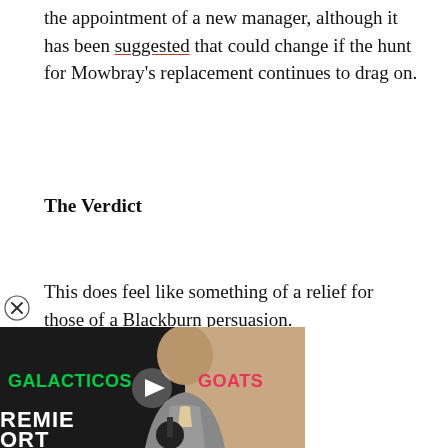the appointment of a new manager, although it has been suggested that could change if the hunt for Mowbray's replacement continues to drag on.
The Verdict
This does feel like something of a relief for those of a Blackburn persuasion.
[Figure (screenshot): Video thumbnail showing a man in a grey suit with text overlays: GALACTICOS in green, GOATS in red/pink, and PREMIE[R] [SP]ORT[S] in white at the bottom. A play button is visible in the center. A close (X) button appears in the top-left corner above the thumbnail.]